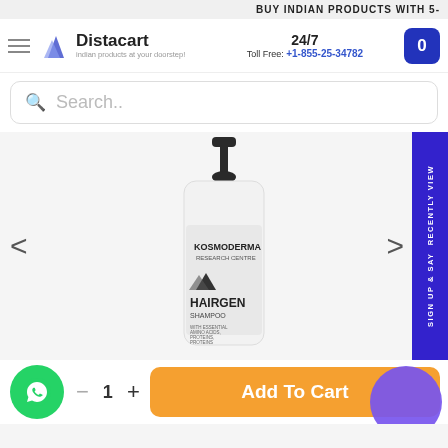BUY INDIAN PRODUCTS WITH 5-
[Figure (screenshot): Distacart e-commerce website navigation bar with logo, 24/7 Toll Free contact number +1-855-25-34782, and cart button]
Search..
[Figure (photo): Kosmoderma Research Centre Hairgen Shampoo bottle with pump dispenser, white bottle with black pump, showing HAIRGEN SHAMPOO label with hair product details]
Add To Cart